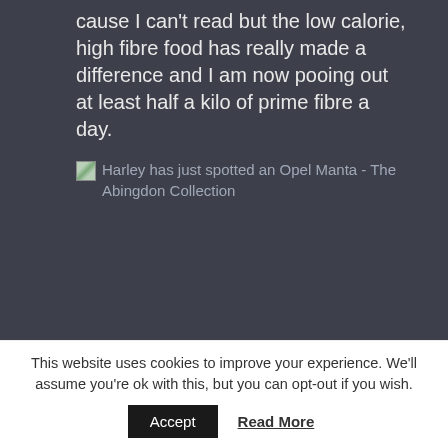cause I can't read but the low calorie, high fibre food has really made a difference and I am now pooing out at least half a kilo of prime fibre a day.
[Figure (illustration): Broken image icon followed by a link text: 'Harley has just spotted an Opel Manta - The Abingdon Collection']
This website uses cookies to improve your experience. We'll assume you're ok with this, but you can opt-out if you wish.